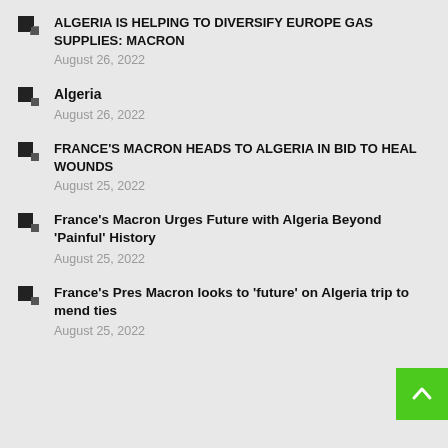ALGERIA IS HELPING TO DIVERSIFY EUROPE GAS SUPPLIES: MACRON
August 26, 2022
Algeria
August 26, 2022
FRANCE'S MACRON HEADS TO ALGERIA IN BID TO HEAL WOUNDS
August 25, 2022
France's Macron Urges Future with Algeria Beyond 'Painful' History
August 25, 2022
France's Pres Macron looks to 'future' on Algeria trip to mend ties
August 25, 2022